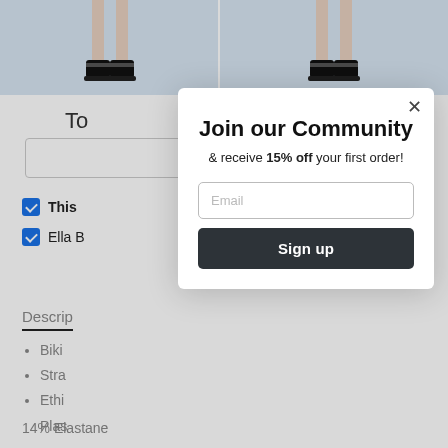[Figure (screenshot): Background e-commerce page showing product images of shoes at top, a search/filter area with blue checkboxes, a Description tab, and bullet points about product features including '14% Elastane' text.]
Join our Community
& receive 15% off your first order!
Email
Sign up